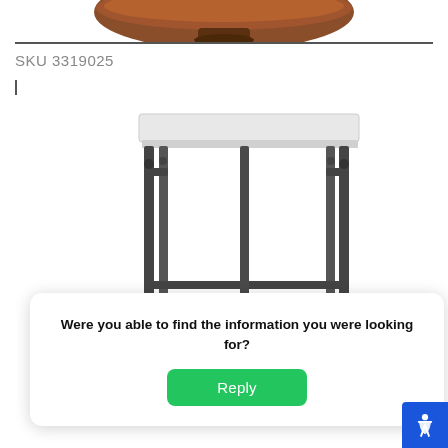[Figure (photo): Partial view of a round wooden bowl or dish at the top of the page, cropped]
SKU 3319025
[Figure (photo): A side table with a white/light marble top and dark metal iron frame legs with shelf below]
Were you able to find the information you were looking for?
Reply